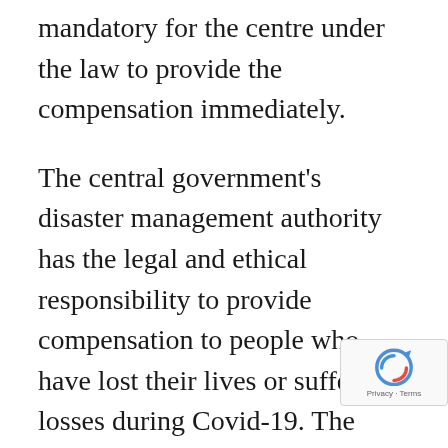mandatory for the centre under the law to provide the compensation immediately.
The central government's disaster management authority has the legal and ethical responsibility to provide compensation to people who have lost their lives or suffered losses during Covid-19. The High Courts across the country have already pulled up the central government